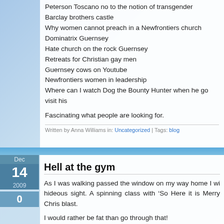Peterson Toscano no to the notion of transgender
Barclay brothers castle
Why women cannot preach in a Newfrontiers church
Dominatrix Guernsey
Hate church on the rock Guernsey
Retreats for Christian gay men
Guernsey cows on Youtube
Newfrontiers women in leadership
Where can I watch Dog the Bounty Hunter when he go visit his
Fascinating what people are looking for.
Written by Anna Williams in: Uncategorized | Tags: blog
Hell at the gym
As I was walking passed the window on my way home I wi hideous sight. A spinning class with ‘So Here it is Merry Chris blast.
I would rather be fat than go through that!
Written by Anna Williams in: Uncategorized | Tags: Christmas, gym